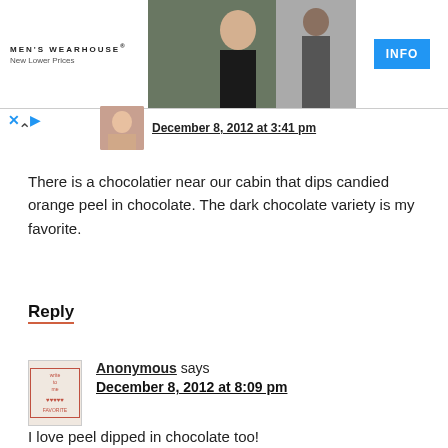[Figure (photo): Men's Wearhouse advertisement banner with couple in formal wear and solo male model in suit, with INFO button]
December 8, 2012 at 3:41 pm
There is a chocolatier near our cabin that dips candied orange peel in chocolate. The dark chocolate variety is my favorite.
Reply
Anonymous says
December 8, 2012 at 8:09 pm
I love peel dipped in chocolate too!